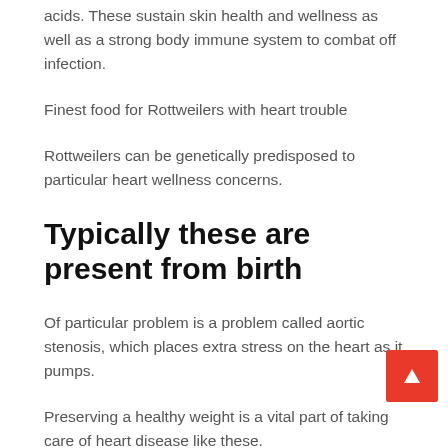acids. These sustain skin health and wellness as well as a strong body immune system to combat off infection.
Finest food for Rottweilers with heart trouble
Rottweilers can be genetically predisposed to particular heart wellness concerns.
Typically these are present from birth
Of particular problem is a problem called aortic stenosis, which places extra stress on the heart as it pumps.
Preserving a healthy weight is a vital part of taking care of heart disease like these.
Carrying added weight puts additional pressure on the